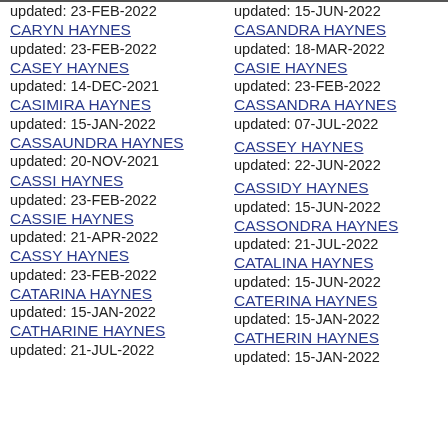updated: 23-FEB-2022
CARYN HAYNES
updated: 23-FEB-2022
CASEY HAYNES
updated: 14-DEC-2021
CASIMIRA HAYNES
updated: 15-JAN-2022
CASSAUNDRA HAYNES updated: 20-NOV-2021
CASSI HAYNES
updated: 23-FEB-2022
CASSIE HAYNES
updated: 21-APR-2022
CASSY HAYNES
updated: 23-FEB-2022
CATARINA HAYNES
updated: 15-JAN-2022
CATHARINE HAYNES
updated: 21-JUL-2022
updated: 15-JUN-2022
CASANDRA HAYNES
updated: 18-MAR-2022
CASIE HAYNES
updated: 23-FEB-2022
CASSANDRA HAYNES
updated: 07-JUL-2022
CASSEY HAYNES
updated: 22-JUN-2022
CASSIDY HAYNES
updated: 15-JUN-2022
CASSONDRA HAYNES
updated: 21-JUL-2022
CATALINA HAYNES
updated: 15-JUN-2022
CATERINA HAYNES
updated: 15-JAN-2022
CATHERIN HAYNES
updated: 15-JAN-2022